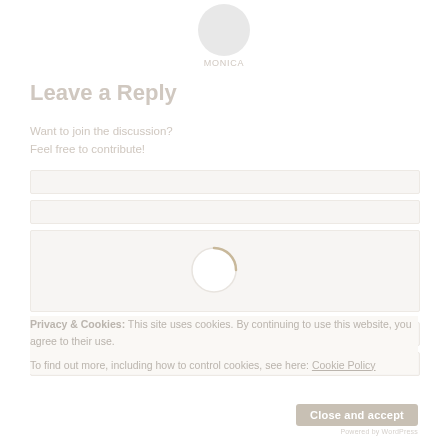[Figure (photo): Avatar circle (user profile image placeholder), light gray circle with subtle face silhouette]
MONICA
Leave a Reply
Want to join the discussion?
Feel free to contribute!
[Figure (other): Loading spinner arc circle, partially visible tan/gold arc on white circle]
Privacy & Cookies: This site uses cookies. By continuing to use this website, you agree to their use.
To find out more, including how to control cookies, see here: Cookie Policy
Close and accept